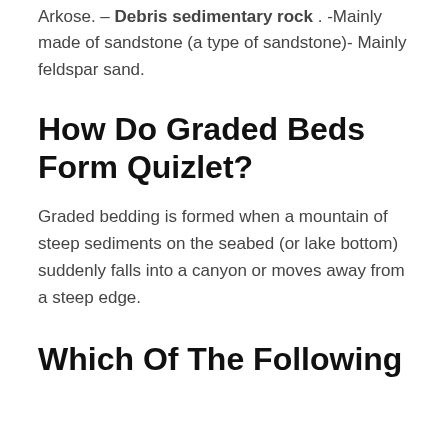Arkose. – Debris sedimentary rock . -Mainly made of sandstone (a type of sandstone)- Mainly feldspar sand.
How Do Graded Beds Form Quizlet?
Graded bedding is formed when a mountain of steep sediments on the seabed (or lake bottom) suddenly falls into a canyon or moves away from a steep edge.
Which Of The Following